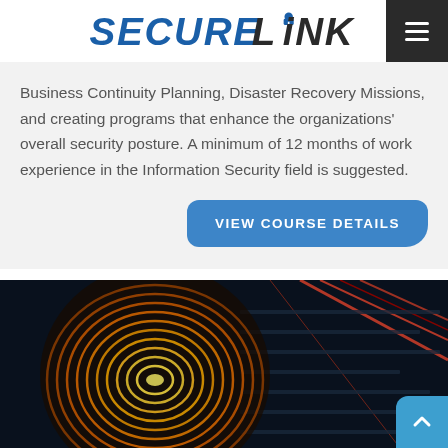SECURELINK
Business Continuity Planning, Disaster Recovery Missions, and creating programs that enhance the organizations' overall security posture. A minimum of 12 months of work experience in the Information Security field is suggested.
VIEW COURSE DETAILS
[Figure (photo): Colorful digital fingerprint scan image on dark background with red circuit lines, illustrating cybersecurity and biometric security themes.]